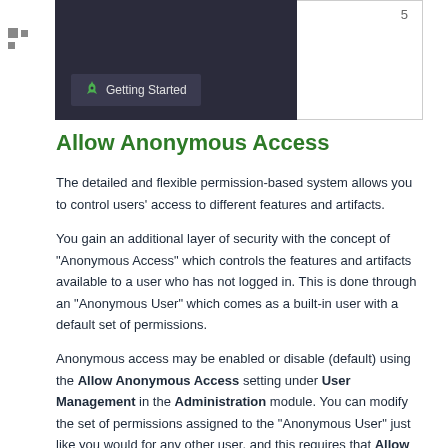[Figure (screenshot): Navigation sidebar screenshot showing a dark background with a green rocket icon and 'Getting Started' button label]
5
Allow Anonymous Access
The detailed and flexible permission-based system allows you to control users' access to different features and artifacts.
You gain an additional layer of security with the concept of "Anonymous Access" which controls the features and artifacts available to a user who has not logged in. This is done through an "Anonymous User" which comes as a built-in user with a default set of permissions.
Anonymous access may be enabled or disable (default) using the Allow Anonymous Access setting under User Management in the Administration module. You can modify the set of permissions assigned to the "Anonymous User" just like you would for any other user, and this requires that Allow Anonymous Access be enabled.
Note that from JFrog Artifactory version 6.12,